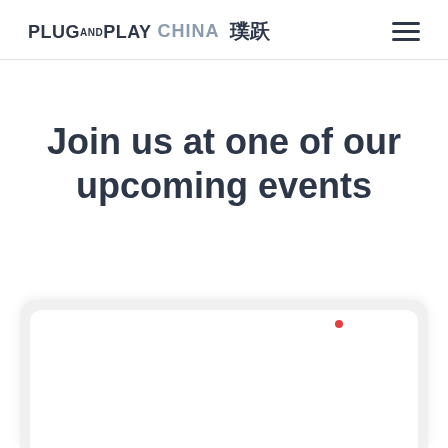PLUG AND PLAY CHINA 璞跃
Join us at one of our upcoming events
[Figure (screenshot): A card UI element with rounded corners and a light gray background, partially visible at the bottom of the page. Contains a white inner card with a small red dot marker in the upper right area.]